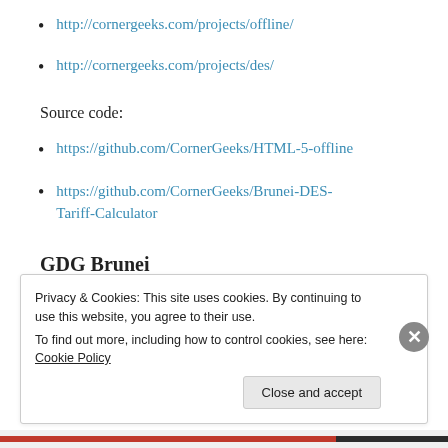http://cornergeeks.com/projects/offline/
http://cornergeeks.com/projects/des/
Source code:
https://github.com/CornerGeeks/HTML-5-offline
https://github.com/CornerGeeks/Brunei-DES-Tariff-Calculator
GDG Brunei
Privacy & Cookies: This site uses cookies. By continuing to use this website, you agree to their use.
To find out more, including how to control cookies, see here: Cookie Policy
Close and accept